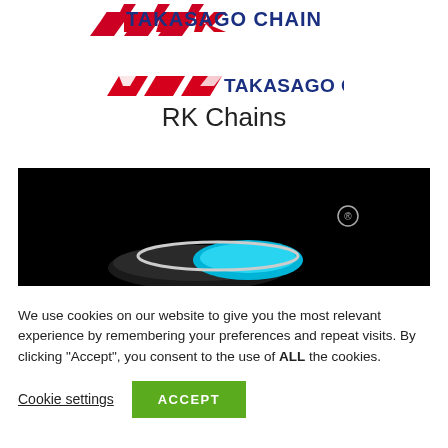[Figure (logo): Takasago Chain company logo with red geometric shapes and blue text reading TAKASAGO CHAIN]
RK Chains
[Figure (photo): Dark product photo on black background showing a chain or mechanical component with cyan/blue highlight and registered trademark symbol]
We use cookies on our website to give you the most relevant experience by remembering your preferences and repeat visits. By clicking “Accept”, you consent to the use of ALL the cookies.
Cookie settings
ACCEPT